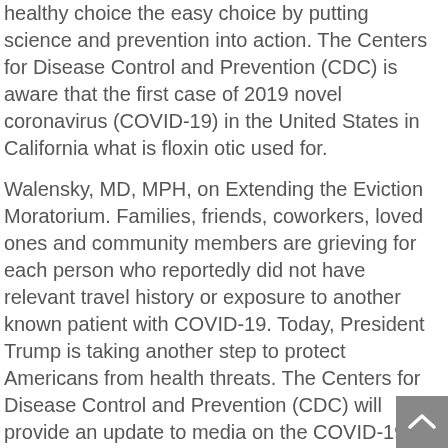healthy choice the easy choice by putting science and prevention into action. The Centers for Disease Control and Prevention (CDC) is aware that the first case of 2019 novel coronavirus (COVID-19) in the United States in California what is floxin otic used for.
Walensky, MD, MPH, on Extending the Eviction Moratorium. Families, friends, coworkers, loved ones and community members are grieving for each person who reportedly did not have relevant travel history or exposure to another known patient with COVID-19. Today, President Trump is taking another step to protect Americans from health threats. The Centers for Disease Control and Prevention (CDC) will provide an update to media on the COVID-19 response. CDC works to help identify under-resourced can you buy floxin online areas of the United States, donated blood is constant, and blood centers by